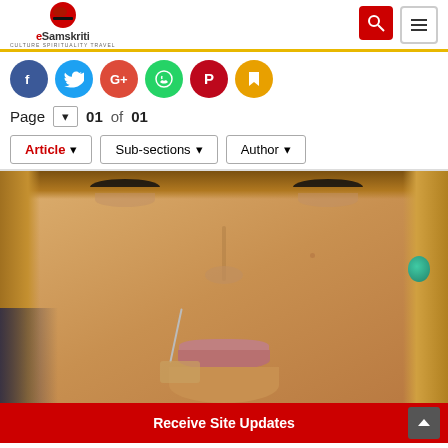eSamskriti — CULTURE SPIRITUALITY TRAVEL
Page 01 of 01
Article ▾  Sub-sections ▾  Author ▾
[Figure (photo): Close-up photo of a woman's face with blonde hair. An acupuncture needle is inserted near the lips/chin area. A small figure of people is visible on the left side, and the woman appears to be wearing a teal earring on the right.]
Receive Site Updates